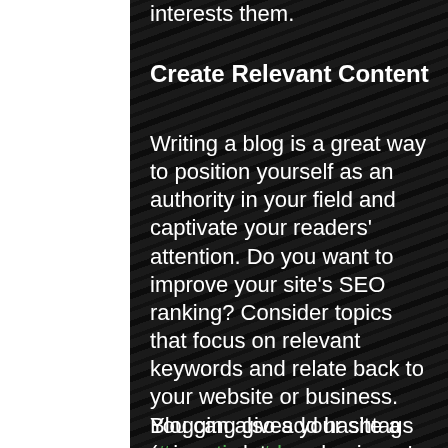interests them.
Create Relevant Content
Writing a blog is a great way to position yourself as an authority in your field and captivate your readers' attention. Do you want to improve your site's SEO ranking? Consider topics that focus on relevant keywords and relate back to your website or business. You can also add hashtags (#vacation #dream #summer) throughout your posts to reach more people, and help visitors search for relevant content.
Blogging gives your site a voice, so let your business' personality shine